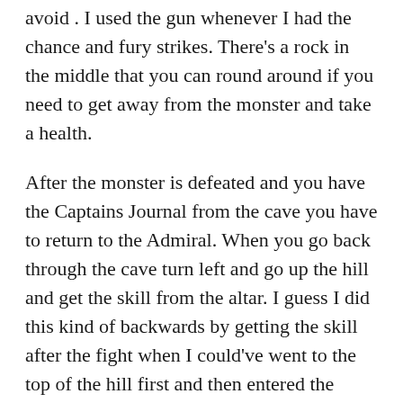avoid . I used the gun whenever I had the chance and fury strikes. There's a rock in the middle that you can round around if you need to get away from the monster and take a health.
After the monster is defeated and you have the Captains Journal from the cave you have to return to the Admiral. When you go back through the cave turn left and go up the hill and get the skill from the altar. I guess I did this kind of backwards by getting the skill after the fight when I could've went to the top of the hill first and then entered the cave, although I don't know how much difference it would've made.
After briefing the Admiral with what you discovered you'll have to accompany Vasco to the tattoo artist so he can get yet another tattoo on his face. You'll earn 1600 xp.